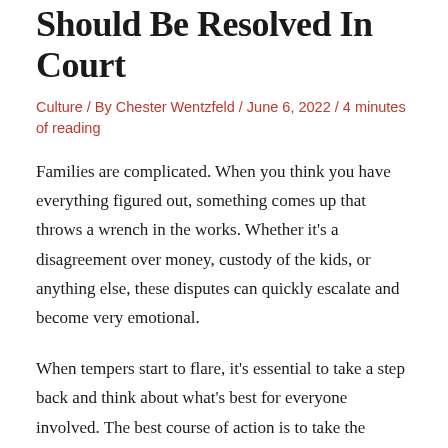Should Be Resolved In Court
Culture / By Chester Wentzfeld / June 6, 2022 / 4 minutes of reading
Families are complicated. When you think you have everything figured out, something comes up that throws a wrench in the works. Whether it's a disagreement over money, custody of the kids, or anything else, these disputes can quickly escalate and become very emotional.
When tempers start to flare, it's essential to take a step back and think about what's best for everyone involved. The best course of action is to take the dispute to court in some cases. Here are some common family disputes that you should resolve in court.
1. Child Custody Disputes
If you and your ex can't agree on who should have custody of the kids, it's time to let a judge decide. Child custody disputes